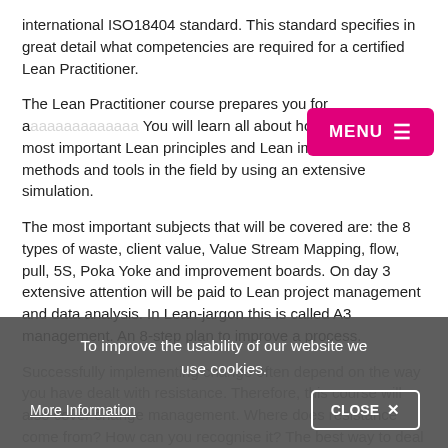international ISO18404 standard. This standard specifies in great detail what competencies are required for a certified Lean Practitioner.
The Lean Practitioner course prepares you for a... You will learn all about how to apply the most important Lean principles and Lean improvement methods and tools in the field by using an extensive simulation.
The most important subjects that will be covered are: the 8 types of waste, client value, Value Stream Mapping, flow, pull, 5S, Poka Yoke and improvement boards. On day 3 extensive attention will be paid to Lean project management and data analysis. In Lean-jargon this is called A3 management. An 8-step plan to improve a process.
Successfully implementing change often depend on the way you have dealt with resistance. Therefore, this course will also cover change management. Where does resistance come from? How can you recognise it? The best way to deal with it?
To improve the usability of our website we use cookies.
More Information
CLOSE ✕